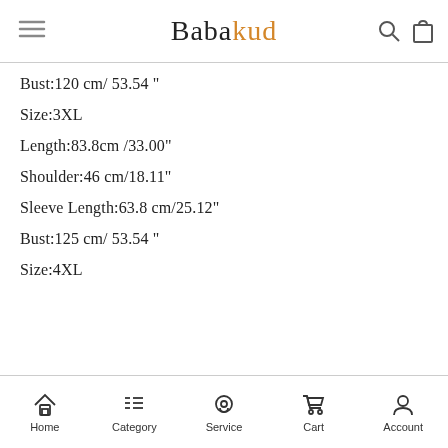Babakud
Bust:120 cm/ 53.54 "
Size:3XL
Length:83.8cm /33.00"
Shoulder:46 cm/18.11"
Sleeve Length:63.8 cm/25.12"
Bust:125 cm/ 53.54 "
Size:4XL
Home  Category  Service  Cart  Account